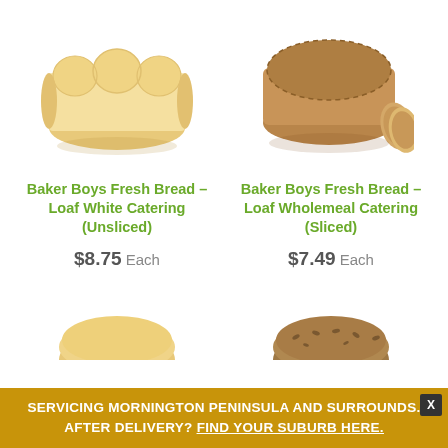[Figure (photo): Baker Boys Fresh Bread - Loaf White Catering (Unsliced) - white bread loaf on white background]
[Figure (photo): Baker Boys Fresh Bread - Loaf Wholemeal Catering (Sliced) - wholemeal bread loaf sliced on white background]
Baker Boys Fresh Bread – Loaf White Catering (Unsliced)
$8.75 Each
Baker Boys Fresh Bread – Loaf Wholemeal Catering (Sliced)
$7.49 Each
[Figure (photo): Partial view of another bread loaf (bottom left), cut off]
[Figure (photo): Partial view of another bread loaf (bottom right), cut off]
SERVICING MORNINGTON PENINSULA AND SURROUNDS. AFTER DELIVERY? FIND YOUR SUBURB HERE.